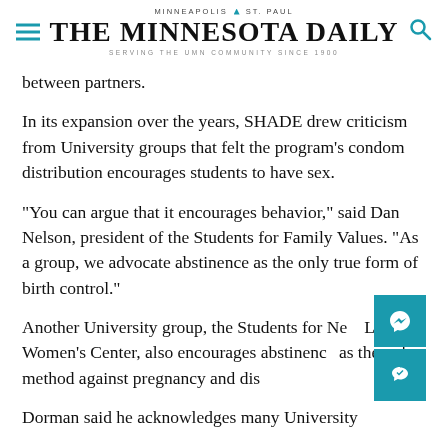MINNEAPOLIS | ST. PAUL — THE MINNESOTA DAILY — SERVING THE UMN COMMUNITY SINCE 1900
between partners.
In its expansion over the years, SHADE drew criticism from University groups that felt the program's condom distribution encourages students to have sex.
“You can argue that it encourages behavior,” said Dan Nelson, president of the Students for Family Values. “As a group, we advocate abstinence as the only true form of birth control.”
Another University group, the Students for New Life Women’s Center, also encourages abstinence as the only method against pregnancy and dis…
Dorman said he acknowledges many University…